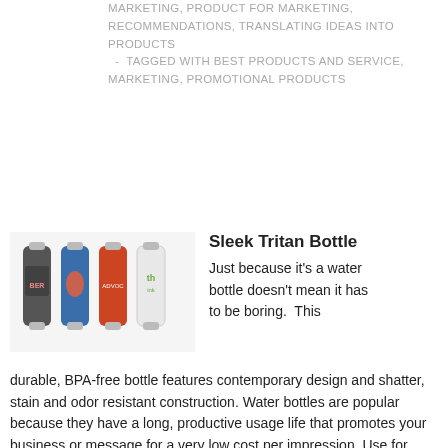MARKETING, PRODUCT FOR MARKETING, RECOMMENDATIONS, TRANSLATING IDEAS INTO PRODUCTS - TAGGED WITH BEST PRODUCTS AND SERVICE, MARKETING, PROMOTIONAL PRODUCTS
[Figure (photo): Four sleek Tritan water bottles in different colors: dark gray, blue, red/orange, and clear/white, each with a silver cap and custom branding printed on the bottle.]
Sleek Tritan Bottle
Just because it’s a water bottle doesn’t mean it has to be boring.  This durable, BPA-free bottle features contemporary design and shatter, stain and odor resistant construction. Water bottles are popular because they have a long, productive usage life that promotes your business or message for a very low cost per impression. Use for office wellness programs,  a conservation campaign, or package up with a t-shirt inside as part of a health club